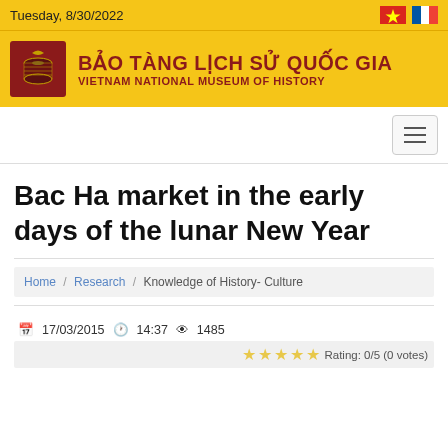Tuesday, 8/30/2022
BẢO TÀNG LỊCH SỬ QUỐC GIA
VIETNAM NATIONAL MUSEUM OF HISTORY
Bac Ha market in the early days of the lunar New Year
Home / Research / Knowledge of History- Culture
17/03/2015  14:37  1485
Rating: 0/5 (0 votes)